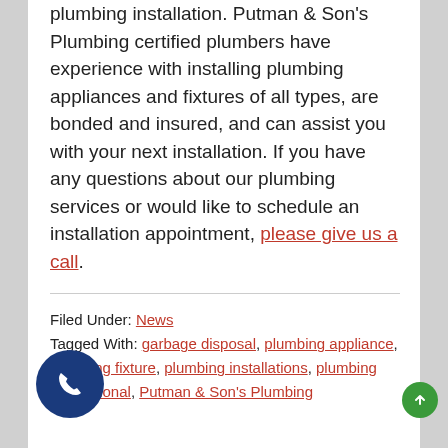plumbing installation. Putman & Son's Plumbing certified plumbers have experience with installing plumbing appliances and fixtures of all types, are bonded and insured, and can assist you with your next installation. If you have any questions about our plumbing services or would like to schedule an installation appointment, please give us a call.
Filed Under: News
Tagged With: garbage disposal, plumbing appliance, plumbing fixture, plumbing installations, plumbing professional, Putman & Son's Plumbing